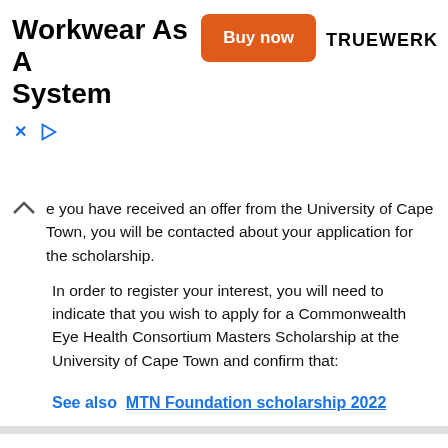[Figure (other): Advertisement banner: 'Workwear As A System' with 'Buy now' button and TRUEWERK logo, with close/ad controls below]
e you have received an offer from the University of Cape Town, you will be contacted about your application for the scholarship.
In order to register your interest, you will need to indicate that you wish to apply for a Commonwealth Eye Health Consortium Masters Scholarship at the University of Cape Town and confirm that:
See also  MTN Foundation scholarship 2022
This website uses cookies to improve your experience. We'll assume you're ok with this, but you can opt-out if you wish.
Cookie settings  ACCEPT